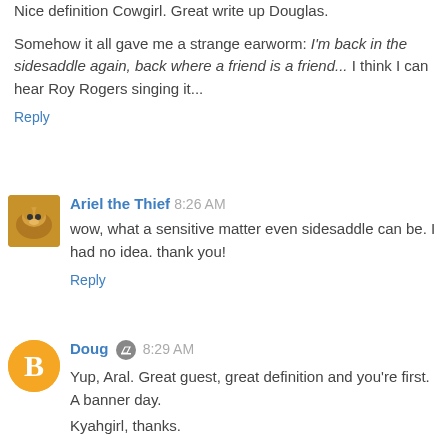Nice definition Cowgirl. Great write up Douglas.
Somehow it all gave me a strange earworm: I'm back in the sidesaddle again, back where a friend is a friend... I think I can hear Roy Rogers singing it...
Reply
Ariel the Thief 8:26 AM
wow, what a sensitive matter even sidesaddle can be. I had no idea. thank you!
Reply
Doug 8:29 AM
Yup, Aral. Great guest, great definition and you're first. A banner day.
Kyahgirl, thanks.
Well, there you go, Logophile. Next week a cowquiz?